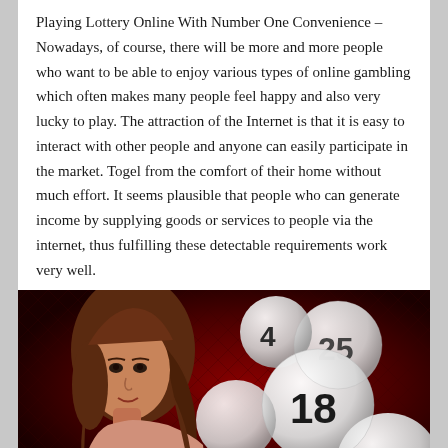Playing Lottery Online With Number One Convenience – Nowadays, of course, there will be more and more people who want to be able to enjoy various types of online gambling which often makes many people feel happy and also very lucky to play. The attraction of the Internet is that it is easy to interact with other people and anyone can easily participate in the market. Togel from the comfort of their home without much effort. It seems plausible that people who can generate income by supplying goods or services to people via the internet, thus fulfilling these detectable requirements work very well.
[Figure (photo): Photo of a young woman with long brown hair on the left side, and lottery balls with numbers 4, 18, 25, 29 on the right side, against a dark red background with diamond pattern.]